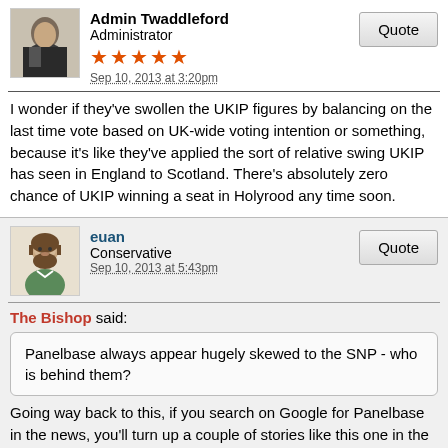Admin Twaddleford
Administrator
★★★★★
Sep 10, 2013 at 3:20pm
I wonder if they've swollen the UKIP figures by balancing on the last time vote based on UK-wide voting intention or something, because it's like they've applied the sort of relative swing UKIP has seen in England to Scotland. There's absolutely zero chance of UKIP winning a seat in Holyrood any time soon.
euan
Conservative
Sep 10, 2013 at 5:43pm
The Bishop said:
Panelbase always appear hugely skewed to the SNP - who is behind them?
Going way back to this, if you search on Google for Panelbase in the news, you'll turn up a couple of stories like this one in the Scotsman:
www.scotsman.com/news/politics/top-stories/panelbase-bans-new-members-from-independence-polls-1-3080830